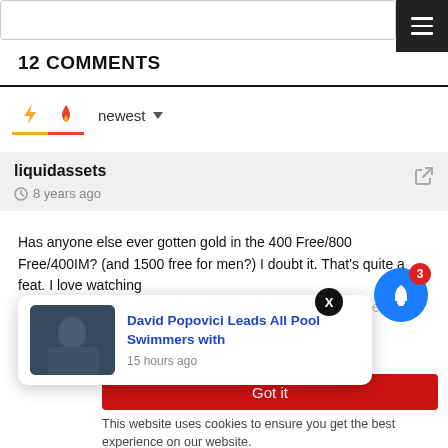12 COMMENTS
[Figure (screenshot): Comment sort icons: lightning bolt (orange) and fire (red) with 'newest' dropdown]
liquidassets
8 years ago
Has anyone else ever gotten gold in the 400 Free/800 Free/400IM? (and 1500 free for men?) I doubt it. That's quite a feat. I love watching attack the water ferociously with that scary freestyle stroke, even though age-grouper. But who st amazing
[Figure (screenshot): Popup card: David Popovici Leads All Pool Swimmers with, 15 hours ago, with swimmer thumbnail photo]
Got it
This website uses cookies to ensure you get the best experience on our website.